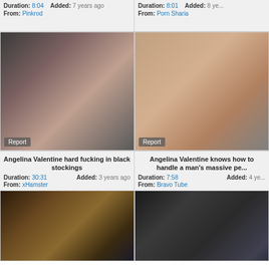Duration: 8:04  Added: 7 years ago  From: Pinkrod
Angelina Valentine  Duration: 8:01  Added: 8 years ago  From: Porn Sharia
[Figure (photo): Video thumbnail - Angelina Valentine hard fucking in black stockings]
Angelina Valentine hard fucking in black stockings
Duration: 30:31  Added: 3 years ago  From: xHamster
[Figure (photo): Video thumbnail - Angelina Valentine knows how to handle a man's massive penis]
Angelina Valentine knows how to handle a man's massive pe...
Duration: 7:58  Added: 4 years ago  From: Bravo Tube
[Figure (photo): Video thumbnail bottom left - tattooed person]
[Figure (photo): Video thumbnail bottom right - dark hair close up]